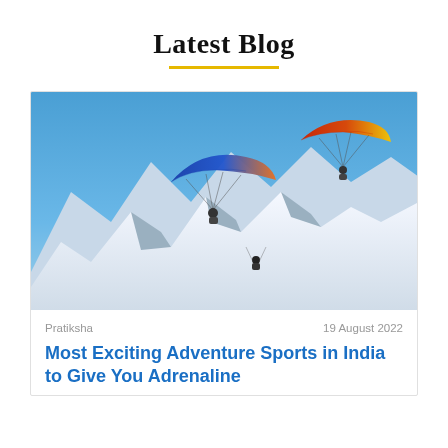Latest Blog
[Figure (photo): Two paragliders with colorful parachutes (blue/orange and red/yellow) soaring over snow-capped mountain peaks under a clear blue sky.]
Pratiksha	19 August 2022
Most Exciting Adventure Sports in India to Give You Adrenaline